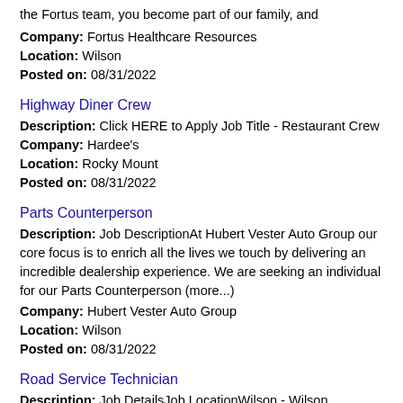the Fortus team, you become part of our family, and
Company: Fortus Healthcare Resources
Location: Wilson
Posted on: 08/31/2022
Highway Diner Crew
Description: Click HERE to Apply Job Title - Restaurant Crew
Company: Hardee's
Location: Rocky Mount
Posted on: 08/31/2022
Parts Counterperson
Description: Job DescriptionAt Hubert Vester Auto Group our core focus is to enrich all the lives we touch by delivering an incredible dealership experience. We are seeking an individual for our Parts Counterperson (more...)
Company: Hubert Vester Auto Group
Location: Wilson
Posted on: 08/31/2022
Road Service Technician
Description: Job DetailsJob LocationWilson - Wilson, NCPosition TypeFull TimeJob DescriptionService Technicians work on all types of forklifts and related materials...